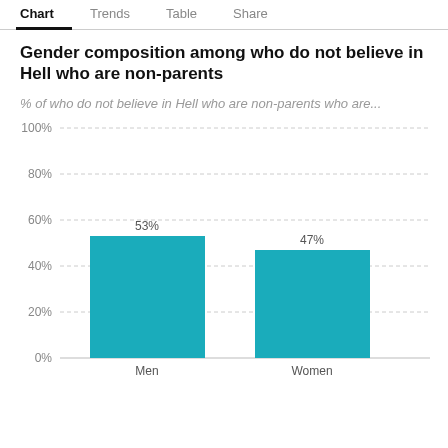Chart | Trends | Table | Share
Gender composition among who do not believe in Hell who are non-parents
% of who do not believe in Hell who are non-parents who are...
[Figure (bar-chart): Gender composition among who do not believe in Hell who are non-parents]